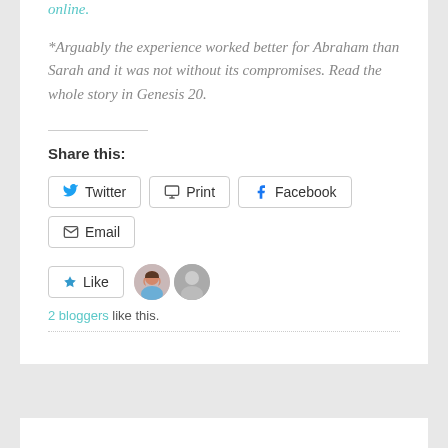online.
*Arguably the experience worked better for Abraham than Sarah and it was not without its compromises. Read the whole story in Genesis 20.
Share this:
Twitter  Print  Facebook  Email
Like
2 bloggers like this.